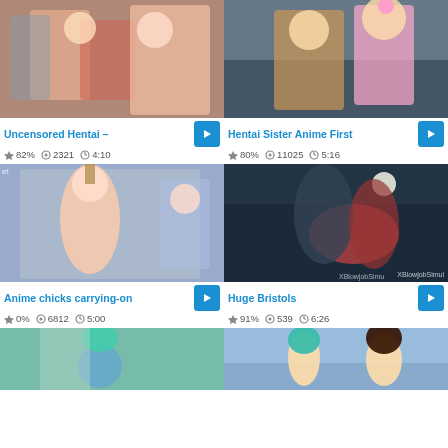[Figure (screenshot): Anime/hentai thumbnail 1 - animated characters]
Uncensored Hentai –
82%  2321  4:10
[Figure (screenshot): Anime/hentai thumbnail 2 - animated characters]
Hentai Sister Anime First
80%  11025  5:16
[Figure (screenshot): Anime thumbnail 3 - bondage scene]
Anime chicks carrying-on
0%  6812  5:00
[Figure (screenshot): 3D animation thumbnail - Huge Bristols]
Huge Bristols
91%  539  6:26
[Figure (screenshot): Anime thumbnail 5 - teal haired character]
[Figure (screenshot): Anime thumbnail 6 - teal haired character and Goku]